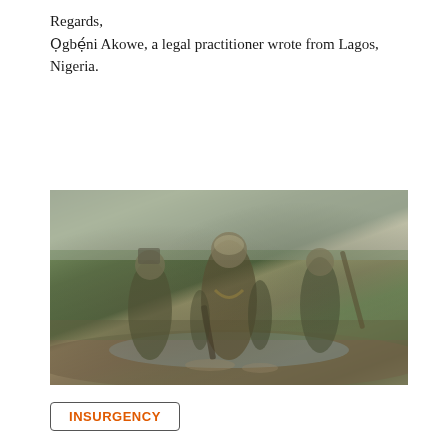Regards,
Ọgbẹ́ni Akowe, a legal practitioner wrote from Lagos, Nigeria.
[Figure (photo): Soldiers in camouflage and helmets wading through muddy wetland terrain, carrying weapons and equipment, in a field setting]
INSURGENCY